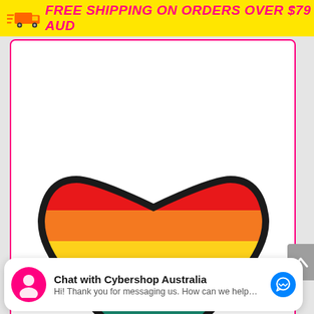FREE SHIPPING ON ORDERS OVER $79 AUD
[Figure (photo): Rainbow pride heart patch/badge with horizontal stripes in red, orange, yellow, green, teal, blue/indigo, and pink, outlined in black, on a white product card with pink border.]
Chat with Cybershop Australia
Hi! Thank you for messaging us. How can we help…